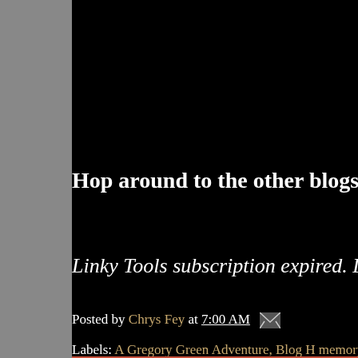Hop around to the other blogs pa
Linky Tools subscription expired. Lis
Posted by Chrys Fey at 7:00 AM
Labels: A Gregory Green Adventure, Blog H memory, nutcracker, Pea Soup Disaster, Pi